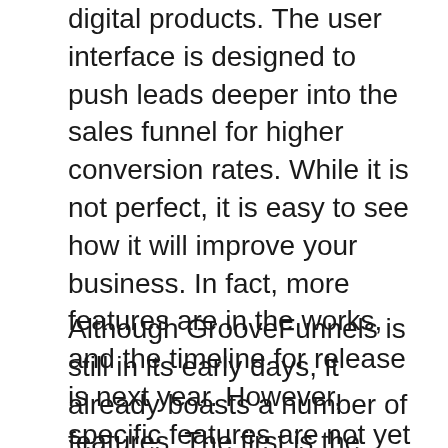digital products. The user interface is designed to push leads deeper into the sales funnel for higher conversion rates. While it is not perfect, it is easy to see how it will improve your business. In fact, more features are in the works, and the timeline for release is next year. However, specific features are not yet scheduled for release.
Although GrooveFunnels is still in its early days, it already boasts a number of features. The first is the affiliate program, which allows you to build your downline. You can also create calls to action for paid webinars. Another great feature of GrooveFunnels is the ability to create memberships for almost any type of business. This tool is a great choice if you are looking for a new way of